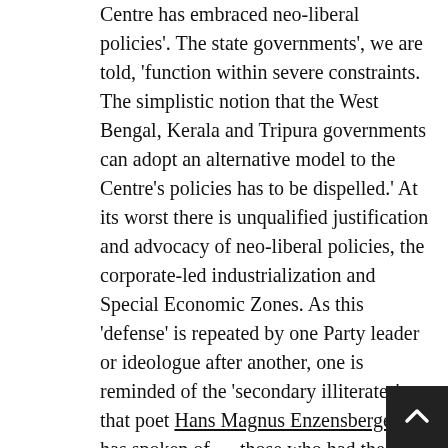Centre has embraced neo-liberal policies'. The state governments', we are told, 'function within severe constraints.  The simplistic notion that the West Bengal, Kerala and Tripura governments can adopt an alternative model to the Centre's policies has to be dispelled.'  At its worst there is unqualified justification and advocacy of neo-liberal policies, the corporate-led industrialization and Special Economic Zones.  As this 'defense' is repeated by one Party leader or ideologue after another, one is reminded of the 'secondary illiterates' that poet Hans Magnus Enzensberger has spoken of — those who had the benefit of literacy once and come to know a few things, know them to be true, but now, gone illiterate, have forgotten whatever they once knew.  (The tribe of 'secondary illiterates', in a truly rich variety, is growing and prospering outside the CPM too, if the media, especially TV, its talk shows, 'debates' and 'big fights' are any indication).
Capitalism is today so powerful and pervasive as to have become invisible, and it is all the more powerful for